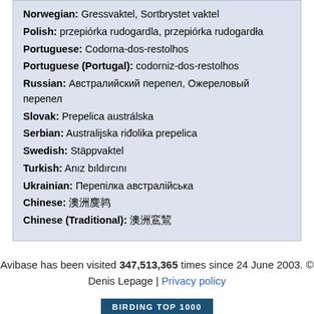Norwegian: Gressvaktel, Sortbrystet vaktel
Polish: przepiórka rudogardla, przepiórka rudogardła
Portuguese: Codorna-dos-restolhos
Portuguese (Portugal): codorniz-dos-restolhos
Russian: Австралийский перепел, Ожереловый перепел
Slovak: Prepelica austrálska
Serbian: Australijska riđolika prepelica
Swedish: Stäppvaktel
Turkish: Anız bıldırcını
Ukrainian: Перепілка австралійська
Chinese: 澳洲鹌鹑
Chinese (Traditional): 澳洲鵪鶉
Avibase has been visited 347,513,365 times since 24 June 2003. © Denis Lepage | Privacy policy
[Figure (other): Birding Top 1000 banner badge]